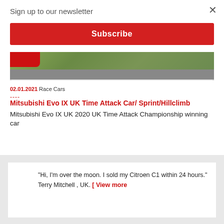Sign up to our newsletter
Subscribe
[Figure (photo): Partial view of a race car on a road with green grass background]
02.01.2021 Race Cars
----
Mitsubishi Evo IX UK Time Attack Car/ Sprint/Hillclimb
Mitsubishi Evo IX UK 2020 UK Time Attack Championship winning car
"Hi, I'm over the moon. I sold my Citroen C1 within 24 hours." Terry Mitchell , UK. [ View more